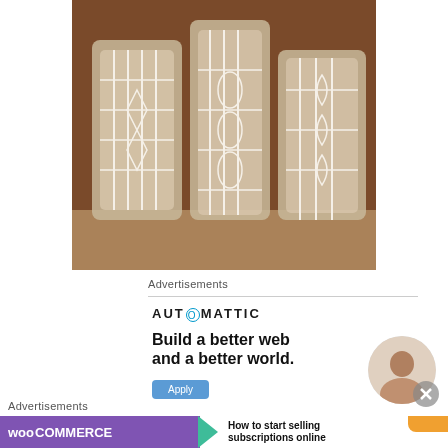[Figure (photo): Three glass jars wrapped in white crocheted lace covers, displayed on a surface.]
Advertisements
[Figure (screenshot): Automattic advertisement: 'Build a better web and a better world.' with an Apply button and a photo of a person thinking.]
Advertisements
[Figure (screenshot): WooCommerce advertisement: 'How to start selling subscriptions online' with WooCommerce logo and colorful arrow graphics.]